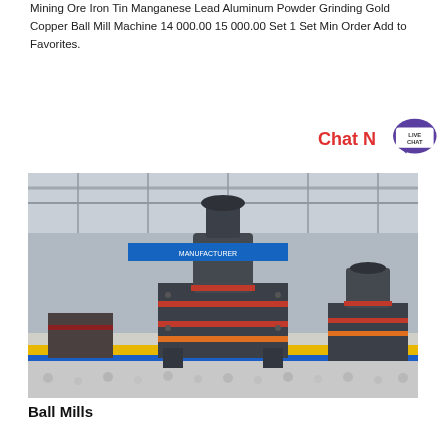Mining Ore Iron Tin Manganese Lead Aluminum Powder Grinding Gold Copper Ball Mill Machine 14 000.00 15 000.00 Set 1 Set Min Order Add to Favorites.
[Figure (infographic): Chat Now button with live chat speech bubble icon in red and purple]
[Figure (photo): Industrial ball mill machines on factory floor with grinding balls, large dark grey machines with red accents inside a warehouse]
Ball Mills